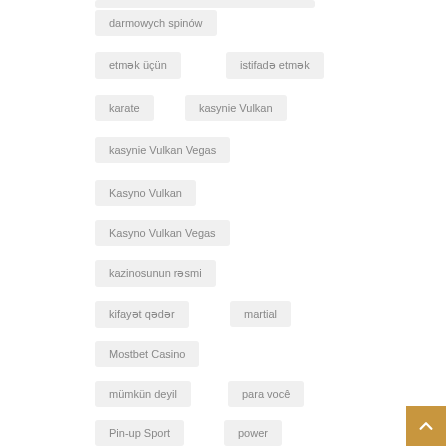darmowych spinów
etmək üçün
istifadə etmək
karate
kasynie Vulkan
kasynie Vulkan Vegas
Kasyno Vulkan
Kasyno Vulkan Vegas
kazinosunun rəsmi
kifayət qədər
martial
Mostbet Casino
mümkün deyil
para você
Pin-up Sport
power